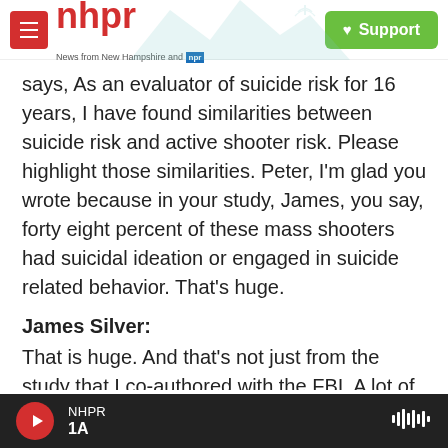nhpr — News from New Hampshire and NPR | Support
says, As an evaluator of suicide risk for 16 years, I have found similarities between suicide risk and active shooter risk. Please highlight those similarities. Peter, I'm glad you wrote because in your study, James, you say, forty eight percent of these mass shooters had suicidal ideation or engaged in suicide related behavior. That's huge.
James Silver:
That is huge. And that's not just from the study that I co-authored with the FBI. A lot of research shows that there is this intersection of suicidality and homicidality that we find in these mass shooters
NHPR | 1A